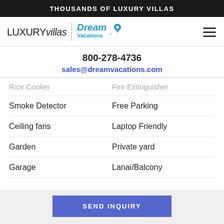THOUSANDS OF LUXURY VILLAS
[Figure (logo): LUXURYvillas | Dream Vacations logo with hamburger menu icon]
800-278-4736
sales@dreamvacations.com
Rice Cooker | Fire Extinguisher
Smoke Detector | Free Parking
Ceiling fans | Laptop Friendly
Garden | Private yard
Garage | Lanai/Balcony
SEND INQUIRY